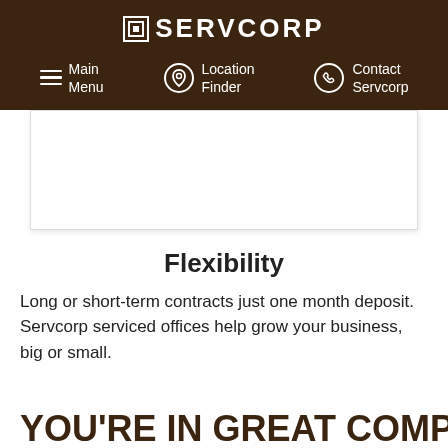SERVCORP
Main Menu | Location Finder | Contact Servcorp
[Figure (photo): White rectangular image placeholder area]
Flexibility
Long or short-term contracts just one month deposit. Servcorp serviced offices help grow your business, big or small.
YOU'RE IN GREAT COMPANY